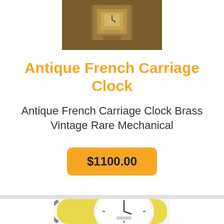[Figure (photo): Top portion of an antique brass French carriage clock on a brown background]
Antique French Carriage Clock
Antique French Carriage Clock Brass Vintage Rare Mechanical
$1100.00
[Figure (photo): Partial view of a yellow/cream vintage wall clock with a white face and brand logo at bottom]